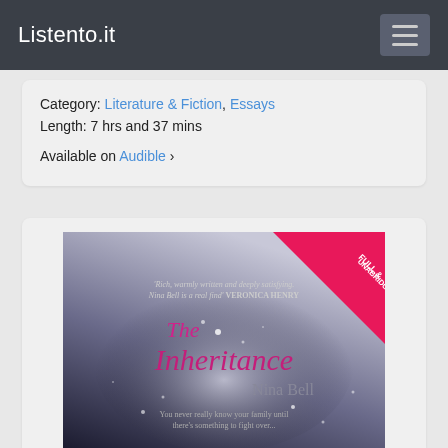Listento.it
Category: Literature & Fiction, Essays
Length: 7 hrs and 37 mins
Available on Audible
[Figure (illustration): Book cover for 'The Inheritance' by Nina Bell. White/light background with sparkle bokeh effect. Pink banner in top-right corner reads 'FULL & UNABRIDGED'. Quote at top: 'Rich, warmly written and deeply satisfying. Nina Bell is a real find' VERONICA HENRY. Title 'The Inheritance' in large pink cursive script. Author name 'Nina Bell' in grey serif. Tagline: 'You never really know your family until there's something to fight over...']